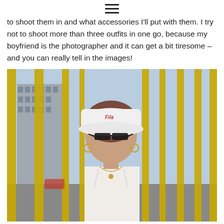☰
to shoot them in and what accessories I'll put with them. I try not to shoot more than three outfits in one go, because my boyfriend is the photographer and it can get a bit tiresome – and you can really tell in the images!
[Figure (photo): Young woman wearing a white Fila bucket hat, narrow dark sunglasses, a white camisole top, and a gold necklace. She is standing in front of bright yellow vertical fence/railing bars with a city building visible in the background. The photo has a warm, slightly vintage tone.]